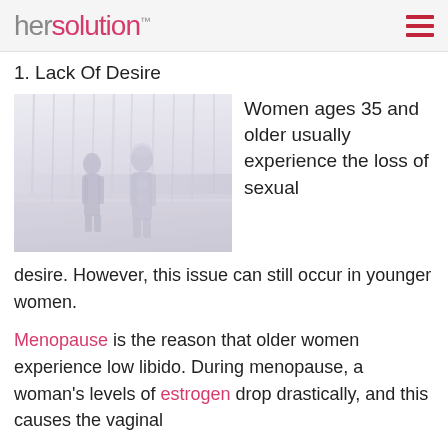hersolution™
1. Lack Of Desire
[Figure (photo): Faded/washed-out photo of two people standing outdoors among trees in a wintry scene]
Women ages 35 and older usually experience the loss of sexual desire. However, this issue can still occur in younger women.
Menopause is the reason that older women experience low libido. During menopause, a woman's levels of estrogen drop drastically, and this causes the vaginal